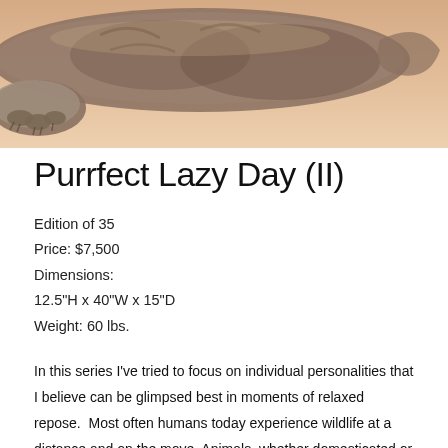[Figure (photo): Close-up photograph of a cat lying down on a warm beige/tan background, showing the cat's paws and lower body stretched out in a relaxed pose.]
Purrfect Lazy Day (II)
Edition of 35
Price: $7,500
Dimensions:
12.5"H x 40"W x 15"D
Weight: 60 lbs.
In this series I've tried to focus on individual personalities that I believe can be glimpsed best in moments of relaxed repose.  Most often humans today experience wildlife at a distance and on the move. Animals, whether domesticated or wild, have a character as individual